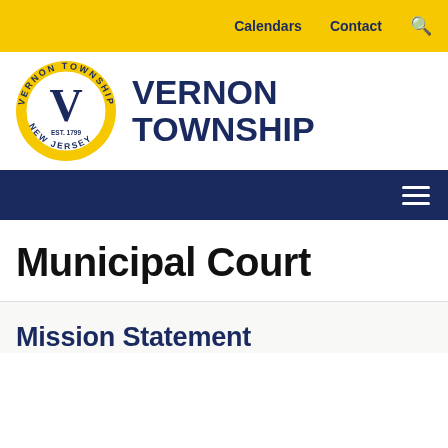Calendars   Contact  🔍
[Figure (logo): Vernon Township seal and wordmark logo — circular gold seal with 'VERNON TOWNSHIP NEW JERSEY EST. 1799' and a large V, beside bold navy text reading VERNON TOWNSHIP]
Municipal Court
Mission Statement